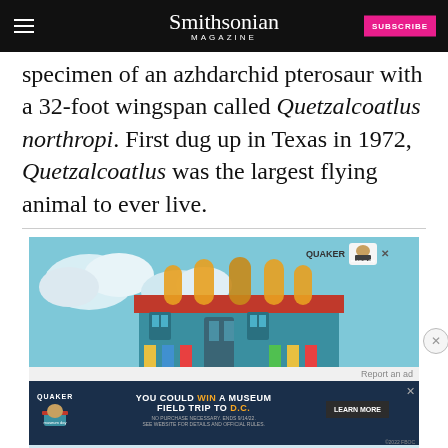Smithsonian MAGAZINE
specimen of an azhdarchid pterosaur with a 32-foot wingspan called Quetzalcoatlus northropi. First dug up in Texas in 1972, Quetzalcoatlus was the largest flying animal to ever live.
[Figure (illustration): Quaker Museum Day advertisement showing a colorful illustrated building with clouds, featuring text 'YOU COULD WIN A MUSEUM FIELD TRIP TO D.C.' and a LEARN MORE button]